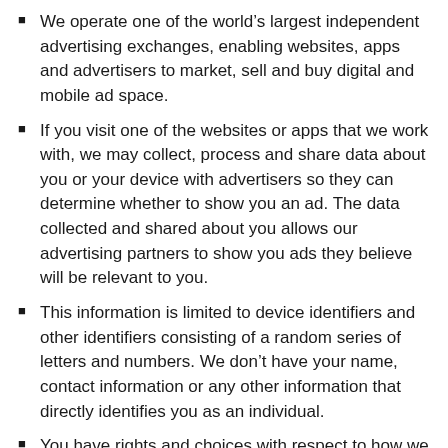We operate one of the world's largest independent advertising exchanges, enabling websites, apps and advertisers to market, sell and buy digital and mobile ad space.
If you visit one of the websites or apps that we work with, we may collect, process and share data about you or your device with advertisers so they can determine whether to show you an ad. The data collected and shared about you allows our advertising partners to show you ads they believe will be relevant to you.
This information is limited to device identifiers and other identifiers consisting of a random series of letters and numbers. We don't have your name, contact information or any other information that directly identifies you as an individual.
You have rights and choices with respect to how we collect and use your data. Learn more in the